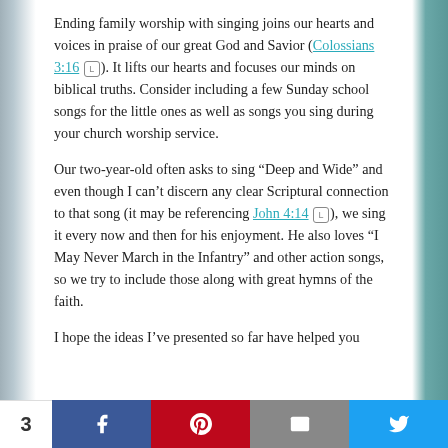Ending family worship with singing joins our hearts and voices in praise of our great God and Savior (Colossians 3:16). It lifts our hearts and focuses our minds on biblical truths. Consider including a few Sunday school songs for the little ones as well as songs you sing during your church worship service.
Our two-year-old often asks to sing “Deep and Wide” and even though I can’t discern any clear Scriptural connection to that song (it may be referencing John 4:14), we sing it every now and then for his enjoyment. He also loves “I May Never March in the Infantry” and other action songs, so we try to include those along with great hymns of the faith.
I hope the ideas I’ve presented so far have helped you
3